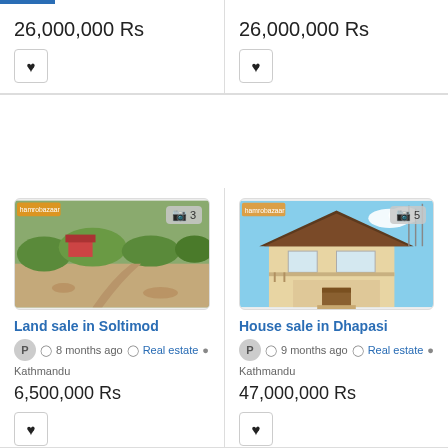26,000,000 Rs (top-left)
26,000,000 Rs (top-right)
[Figure (photo): Overgrown land plot with vegetation and a path, photo count: 3]
Land sale in Soltimod
P  8 months ago  Real estate  Kathmandu
6,500,000 Rs
[Figure (photo): Two-storey house with balcony under blue sky, photo count: 5]
House sale in Dhapasi
P  9 months ago  Real estate  Kathmandu
47,000,000 Rs